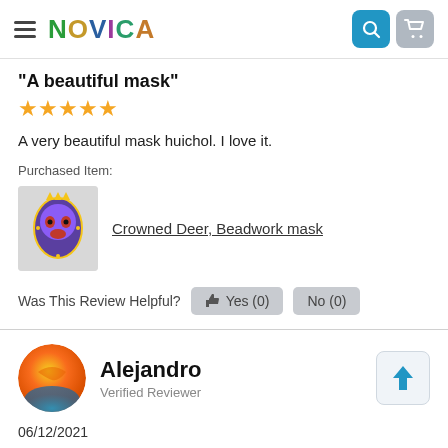NOVICA
"A beautiful mask"
A very beautiful mask huichol. I love it.
Purchased Item:
[Figure (photo): Product photo of Crowned Deer Beadwork mask]
Crowned Deer, Beadwork mask
Was This Review Helpful? Yes (0) No (0)
Alejandro
Verified Reviewer
06/12/2021